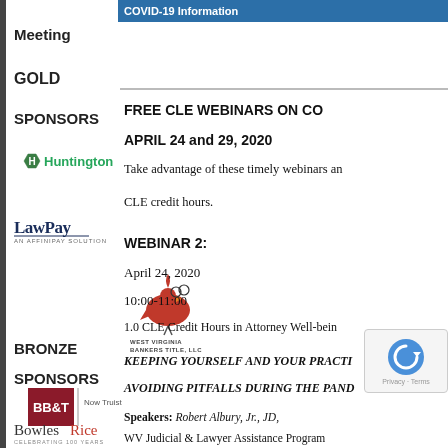COVID-19 Information
Meeting
GOLD
SPONSORS
[Figure (logo): Huntington bank logo with green H icon]
[Figure (logo): LawPay logo - AN AFFINIPAY SOLUTION]
FREE CLE WEBINARS ON CO
APRIL 24 and 29, 2020
Take advantage of these timely webinars an
CLE credit hours.
[Figure (logo): West Virginia Bankers Title LLC logo with cardinal bird]
WEBINAR 2:
April 24, 2020
10:00-11:00
1.0 CLE Credit Hours in Attorney Well-bein
BRONZE
SPONSORS
KEEPING YOURSELF AND YOUR PRACTI
AVOIDING PITFALLS DURING THE PAND
[Figure (logo): BB&T Now Truist logo]
Speakers: Robert Albury, Jr., JD,
[Figure (logo): Bowles Rice - Celebrating 100 Years logo]
WV Judicial & Lawyer Assistance Program